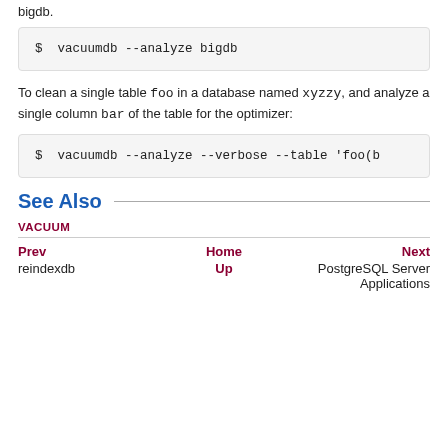bigdb.
$ vacuumdb --analyze bigdb
To clean a single table foo in a database named xyzzy, and analyze a single column bar of the table for the optimizer:
$ vacuumdb --analyze --verbose --table 'foo(b
See Also
VACUUM
Prev  Home  Next
reindexdb  Up  PostgreSQL Server Applications